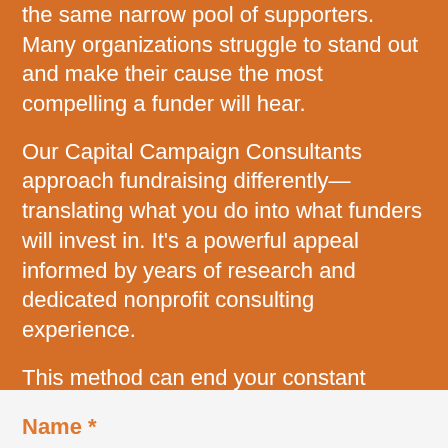the same narrow pool of supporters. Many organizations struggle to stand out and make their cause the most compelling a funder will hear.
Our Capital Campaign Consultants approach fundraising differently—translating what you do into what funders will invest in. It's a powerful appeal informed by years of research and dedicated nonprofit consulting experience.
This method can end your constant struggle for funding.
Name *